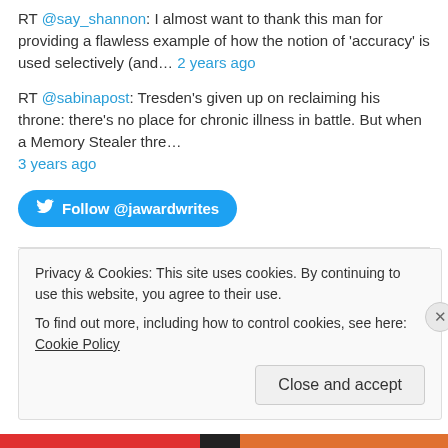RT @say_shannon: I almost want to thank this man for providing a flawless example of how the notion of 'accuracy' is used selectively (and… 2 years ago
RT @sabinapost: Tresden's given up on reclaiming his throne: there's no place for chronic illness in battle. But when a Memory Stealer thre… 3 years ago
Follow @jawardwrites
Categories
Author Interview
Privacy & Cookies: This site uses cookies. By continuing to use this website, you agree to their use. To find out more, including how to control cookies, see here: Cookie Policy
Close and accept